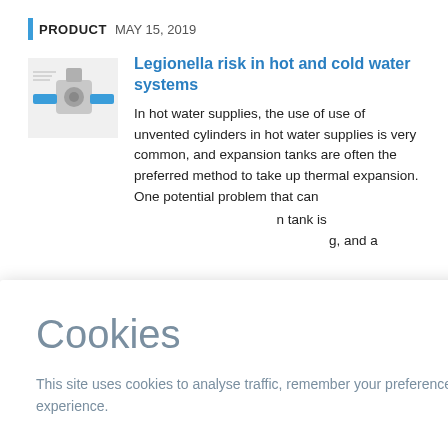PRODUCT  MAY 15, 2019
[Figure (photo): Product photo of a water valve fitting with blue fittings and grey body]
Legionella risk in hot and cold water systems
In hot water supplies, the use of use of unvented cylinders in hot water supplies is very common, and expansion tanks are often the preferred method to take up thermal expansion. One potential problem that can ... tank is ... g, and a ...
Cookies
This site uses cookies to analyse traffic, remember your preferences, and optimise your experience.
LEARN MORE   CLOSE
connections for pipe sizes between 3/8 and 2 inch diameter. Part of the ‘industry-first’ Megapress range of press connections for